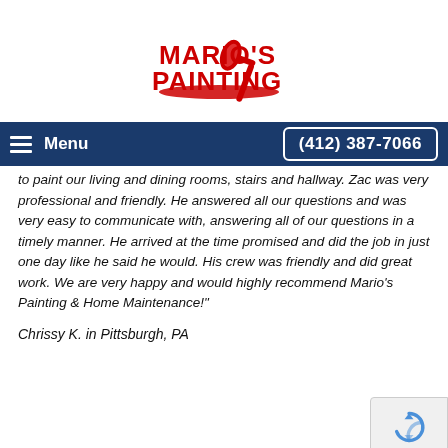[Figure (logo): Mario's Painting logo: red bold text reading MARIO'S PAINTING with a red paint roller graphic above/right of text]
Menu   (412) 387-7066
to paint our living and dining rooms, stairs and hallway. Zac was very professional and friendly. He answered all our questions and was very easy to communicate with, answering all of our questions in a timely manner. He arrived at the time promised and did the job in just one day like he said he would. His crew was friendly and did great work. We are very happy and would highly recommend Mario's Painting & Home Maintenance!"
Chrissy K. in Pittsburgh, PA